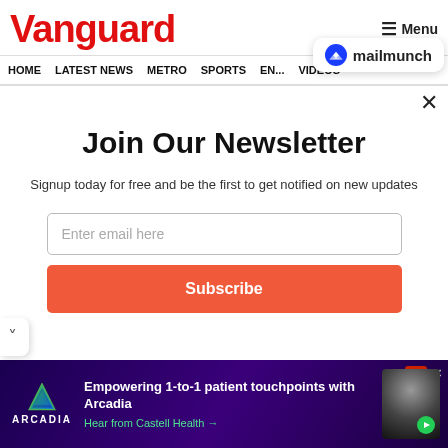Vanguard
[Figure (logo): Mailmunch logo badge with blue M icon and text 'mailmunch']
HOME  LATEST NEWS  METRO  SPORTS  ENTERTAINMENT  VIDEOS
Join Our Newsletter
Signup today for free and be the first to get notified on new updates
Enter email here
Subscribe
[Figure (infographic): Arcadia ad banner: 'Empowering 1-to-1 patient touchpoints with Arcadia. Hear from Castell Health →' on dark purple background with Arcadia triangle logo and person image]